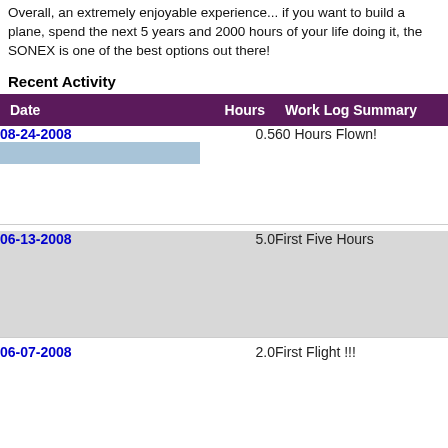Overall, an extremely enjoyable experience... if you want to build a plane, spend the next 5 years and 2000 hours of your life doing it, the SONEX is one of the best options out there!
Recent Activity
| Date | Hours | Work Log Summary |
| --- | --- | --- |
| 08-24-2008 | 0.5 | 60 Hours Flown! |
| 06-13-2008 | 5.0 | First Five Hours |
| 06-07-2008 | 2.0 | First Flight !!! |